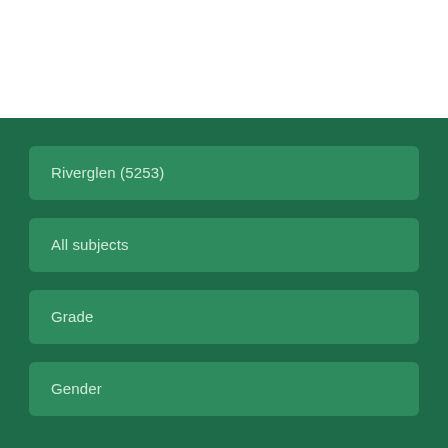Riverglen (5253)
All subjects
Grade
Gender